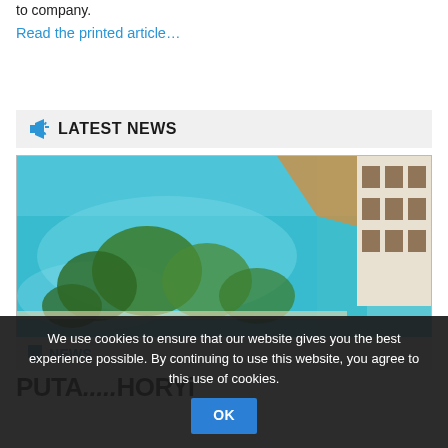to company.
Read the printed article…
LATEST NEWS
[Figure (photo): Aerial view of a turquoise pool and tropical trees next to a multi-story building]
NEWS
PUTA...HORYi
We use cookies to ensure that our website gives you the best experience possible. By continuing to use this website, you agree to this use of cookies.